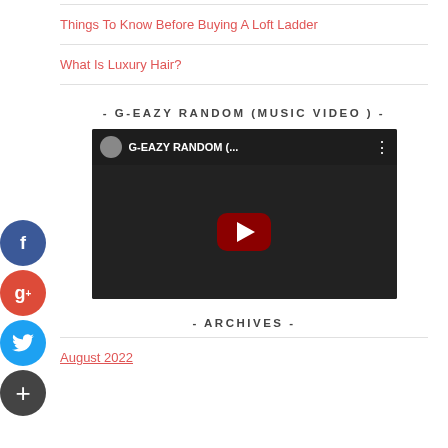Things To Know Before Buying A Loft Ladder
What Is Luxury Hair?
- G-EAZY RANDOM (MUSIC VIDEO ) -
[Figure (screenshot): YouTube video thumbnail for G-EAZY RANDOM music video, dark background with red play button]
- ARCHIVES -
August 2022